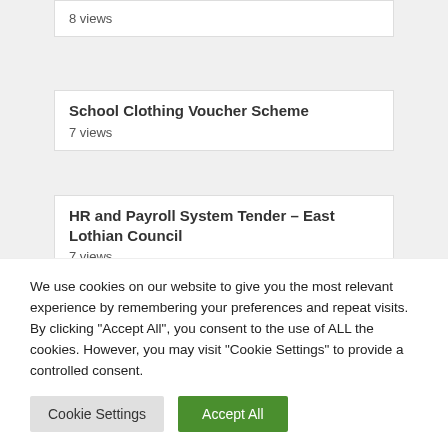8 views
School Clothing Voucher Scheme
7 views
HR and Payroll System Tender – East Lothian Council
7 views
HM Land Registry Scanning and Data Extraction Services Tender
We use cookies on our website to give you the most relevant experience by remembering your preferences and repeat visits. By clicking "Accept All", you consent to the use of ALL the cookies. However, you may visit "Cookie Settings" to provide a controlled consent.